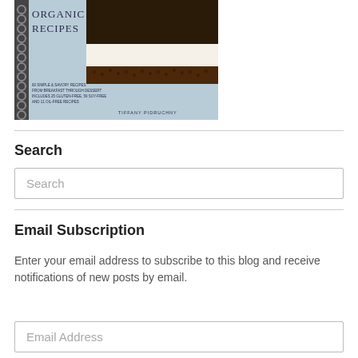[Figure (photo): A spiral-bound cookbook titled 'Organic Recipes' by Tiffany Pidruchny, showing a chocolate layered dessert bar on the cover with text about simple and savory recipes including gluten-free and soy-free options.]
Search
Search
Email Subscription
Enter your email address to subscribe to this blog and receive notifications of new posts by email.
Email Address